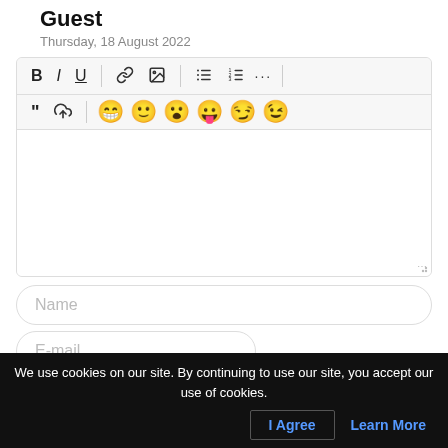Guest
Thursday, 18 August 2022
[Figure (screenshot): Rich text editor toolbar with bold, italic, underline, link, image, list buttons, emoji row, and empty text area. Below are Name and E-mail input fields.]
We use cookies on our site. By continuing to use our site, you accept our use of cookies.